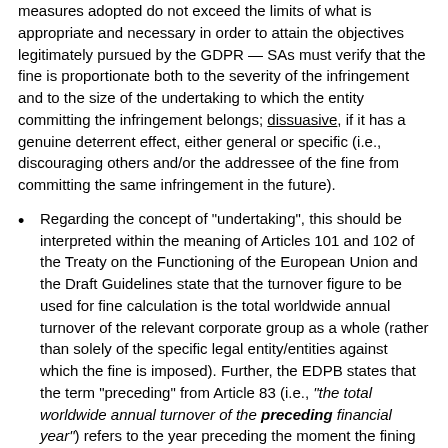measures adopted do not exceed the limits of what is appropriate and necessary in order to attain the objectives legitimately pursued by the GDPR — SAs must verify that the fine is proportionate both to the severity of the infringement and to the size of the undertaking to which the entity committing the infringement belongs; dissuasive, if it has a genuine deterrent effect, either general or specific (i.e., discouraging others and/or the addressee of the fine from committing the same infringement in the future).
Regarding the concept of "undertaking", this should be interpreted within the meaning of Articles 101 and 102 of the Treaty on the Functioning of the European Union and the Draft Guidelines state that the turnover figure to be used for fine calculation is the total worldwide annual turnover of the relevant corporate group as a whole (rather than solely of the specific legal entity/entities against which the fine is imposed). Further, the EDPB states that the term "preceding" from Article 83 (i.e., "the total worldwide annual turnover of the preceding financial year") refers to the year preceding the moment the fining decision is issued by the SA and not the time of the infringement.